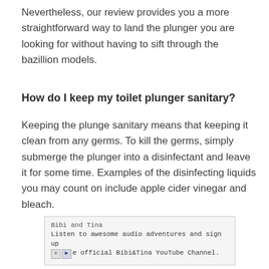Nevertheless, our review provides you a more straightforward way to land the plunger you are looking for without having to sift through the bazillion models.
How do I keep my toilet plunger sanitary?
Keeping the plunge sanitary means that keeping it clean from any germs. To kill the germs, simply submerge the plunger into a disinfectant and leave it for some time. Examples of the disinfecting liquids you may count on include apple cider vinegar and bleach.
[Figure (other): Advertisement box for Bibi and Tina with text: Listen to awesome audio adventures and sign up, he official Bibi&Tina YouTube Channel.]